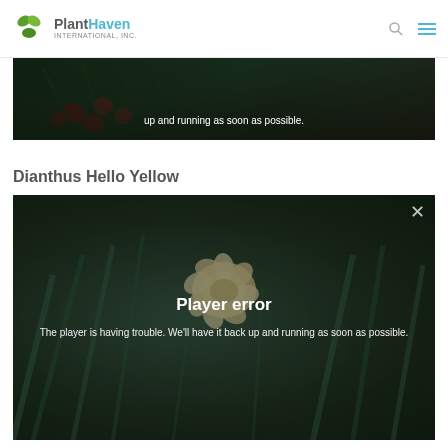[Figure (logo): PlantHaven International, Inc. logo with green leaf icons and teal/grey text]
[Figure (screenshot): Partial video player showing plant imagery with text: 'up and running as soon as possible.']
Dianthus Hello Yellow
[Figure (screenshot): Video player showing Dianthus Hello Yellow flower with 'Player error' overlay message: 'The player is having trouble. We'll have it back up and running as soon as possible.']